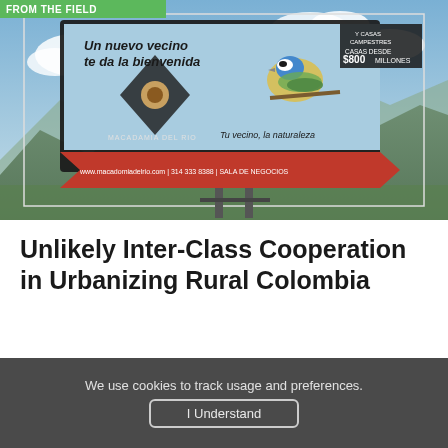From the Field
[Figure (photo): Outdoor billboard in a mountainous Colombian landscape. The billboard advertises 'Macadamia del Rio' real estate development. Text on billboard reads: 'Un nuevo vecino te da la bienvenida' (A new neighbor welcomes you), shows a blue-tit bird perched on a branch, 'Tu vecino, la naturaleza' (Your neighbor, nature), 'CASAS DESDE $800 MILLONES', and contact info 'www.macadomiadelrio.com | 314 333 8388 | SALA DE NEGOCIOS'. Background shows Andean mountains and sky with clouds.]
Unlikely Inter-Class Cooperation in Urbanizing Rural Colombia
We use cookies to track usage and preferences.
I Understand